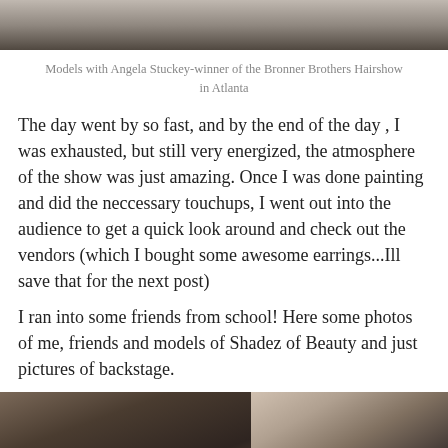[Figure (photo): Top portion of a photo showing a model with dramatic dark feathered hair at a hairshow]
Models with Angela Stuckey-winner of the Bronner Brothers Hairshow in Atlanta
The day went by so fast, and by the end of the day , I was exhausted, but still very energized, the atmosphere of the show was just amazing. Once I was done painting and did the neccessary touchups, I went out into the audience to get a quick look around and check out the vendors (which I bought some awesome earrings...Ill save that for the next post)
I ran into some friends from school! Here some photos of me, friends and models of Shadez of Beauty and just pictures of backstage.
[Figure (photo): Backstage photos showing two models: on the left a person with a close-cropped head and braided detail near the ear, on the right a person with short dark wavy styled hair]